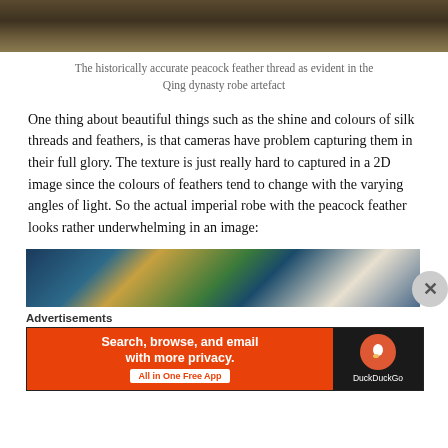[Figure (photo): Top portion of a close-up photo of a Qing dynasty robe artefact showing peacock feather thread texture]
The historically accurate peacock feather thread as evident in the Qing dynasty robe artefact
One thing about beautiful things such as the shine and colours of silk threads and feathers, is that cameras have problem capturing them in their full glory. The texture is just really hard to captured in a 2D image since the colours of feathers tend to change with the varying angles of light. So the actual imperial robe with the peacock feather looks rather underwhelming in an image:
[Figure (photo): Bottom portion showing a Qing dynasty imperial robe with colourful patterns including peacock feather embroidery]
Advertisements
[Figure (screenshot): DuckDuckGo advertisement banner: Search, browse, and email with more privacy. All in One Free App]